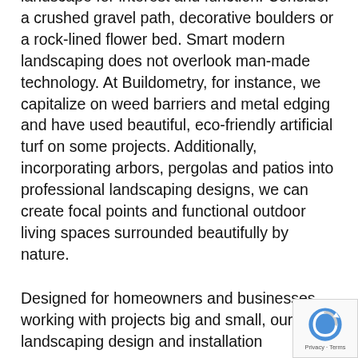landscape for interest and function. Consider a crushed gravel path, decorative boulders or a rock-lined flower bed. Smart modern landscaping does not overlook man-made technology. At Buildometry, for instance, we capitalize on weed barriers and metal edging and have used beautiful, eco-friendly artificial turf on some projects. Additionally, incorporating arbors, pergolas and patios into professional landscaping designs, we can create focal points and functional outdoor living spaces surrounded beautifully by nature.
Designed for homeowners and businesses working with projects big and small, our landscaping design and installation